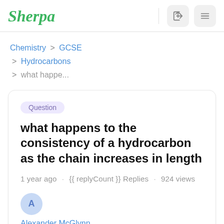Sherpa
Chemistry > GCSE > Hydrocarbons > what happe...
Question
what happens to the consistency of a hydrocarbon as the chain increases in length
1 year ago · {{ replyCount }} Replies · 924 views
A
Alexander McGlynn